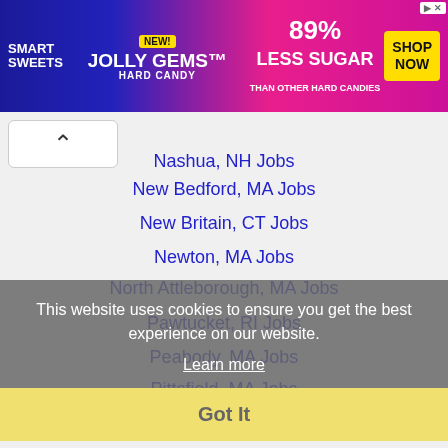[Figure (other): Smart Sweets Jolly Gems Hard Candy advertisement banner. Blue and pink background, yellow NEW! badge, text '89% LESS SUGAR THAN OTHER HARD CANDIES', yellow SHOP NOW button.]
Nashua, NH Jobs
New Bedford, MA Jobs
New Britain, CT Jobs
Newton, MA Jobs
North Attleborough, MA Jobs
Pawtucket, RI Jobs
Peabody, MA Jobs
Pittsfield, MA Jobs
Plymouth, MA Jobs
Providence, RI Jobs
Quincy, MA Jobs
Revere, MA Jobs
Salem, MA Jobs
Somerville, MA Jobs
Springfield, MA Jobs
This website uses cookies to ensure you get the best experience on our website. Learn more Got It